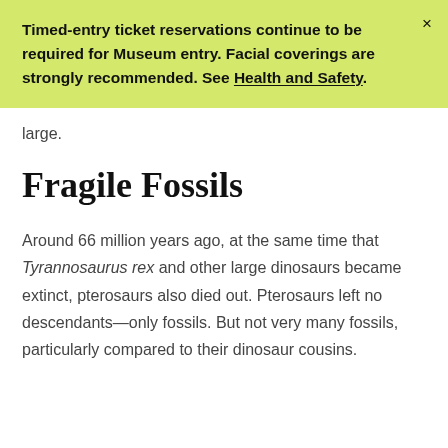Timed-entry ticket reservations continue to be required for Museum entry. Facial coverings are strongly recommended. See Health and Safety.
large.
Fragile Fossils
Around 66 million years ago, at the same time that Tyrannosaurus rex and other large dinosaurs became extinct, pterosaurs also died out. Pterosaurs left no descendants—only fossils. But not very many fossils, particularly compared to their dinosaur cousins.